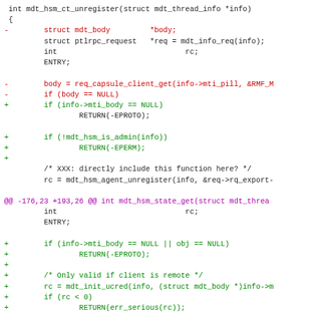[Figure (screenshot): A code diff screenshot showing C code for mdt_hsm_ct_unregister and mdt_hsm_state_get functions with red lines (removed) and green lines (added), and purple diff hunk headers.]